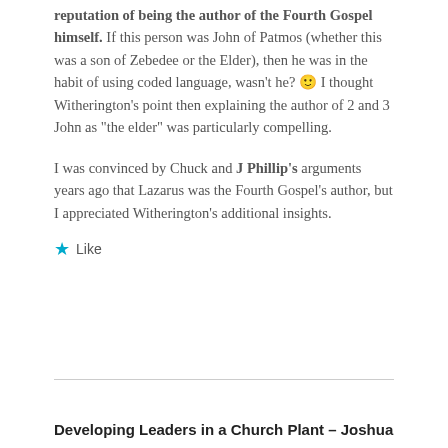reputation of being the author of the Fourth Gospel himself. If this person was John of Patmos (whether this was a son of Zebedee or the Elder), then he was in the habit of using coded language, wasn't he? 🙂 I thought Witherington's point then explaining the author of 2 and 3 John as "the elder" was particularly compelling.
I was convinced by Chuck and J Phillip's arguments years ago that Lazarus was the Fourth Gospel's author, but I appreciated Witherington's additional insights.
★ Like
Developing Leaders in a Church Plant – Joshua Plan